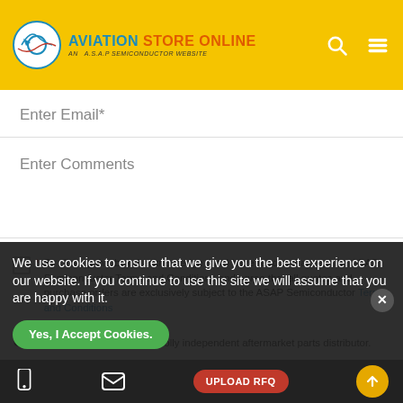[Figure (logo): Aviation Store Online logo with circular emblem and text. Blue 'AVIATION' and orange 'STORE ONLINE' text, subtitle 'AN A.S.A.P SEMICONDUCTOR WEBSITE']
Enter Email*
Enter Comments
* By clicking this box, I acknowledge that I have read and accept the ASAP Semiconductor Terms and Conditions and agree that all quotes and purchase orders are exclusively subject to the ASAP Semiconductor Terms and Conditions
ASAP Semiconductor is a wholly independent aftermarket parts distributor.
This website is intended for quotations based on part numbers only. Please DO NOT submit drawings, technical data, or other specifications through this portal.
We use cookies to ensure that we give you the best experience on our website. If you continue to use this site we will assume that you are happy with it.
Yes, I Accept Cookies.
UPLOAD RFQ